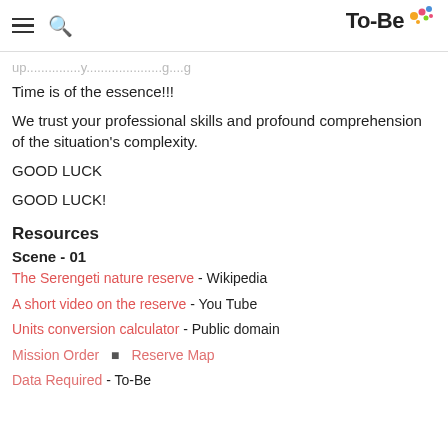To-Be
Time is of the essence!!!
We trust your professional skills and profound comprehension of the situation's complexity.
GOOD LUCK
GOOD LUCK!
Resources
Scene - 01
The Serengeti nature reserve - Wikipedia
A short video on the reserve - You Tube
Units conversion calculator - Public domain
Mission Order  ▪  Reserve Map
Data Required - To-Be